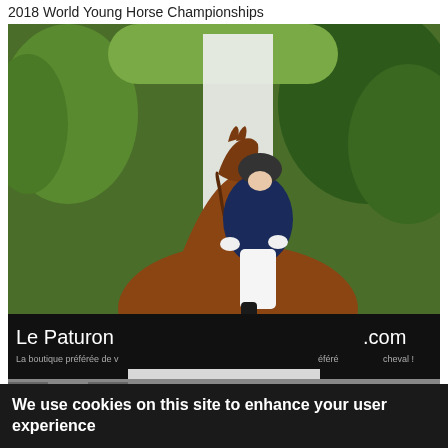2018 World Young Horse Championships
[Figure (photo): Equestrian dressage rider in navy jacket and white breeches on a chestnut horse at the 2018 World Young Horse Championships. A white banner with text is visible in the background along with green trees. At the bottom of the image is a dark sponsor banner reading 'Le Paturon' and '.com' with text 'La boutique préférée de v... éféré... cheval !'. A 'Privacy settings' button overlay appears at the bottom center of the photo.]
We use cookies on this site to enhance your user experience